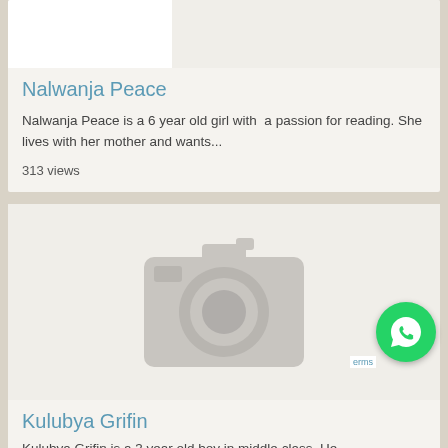[Figure (photo): Top card image area, partially visible, white/light background]
Nalwanja Peace
Nalwanja Peace is a 6 year old girl with  a passion for reading. She lives with her mother and wants...
313 views
[Figure (photo): Placeholder image with grey camera icon on white background]
Kulubya Grifin
Kulubya Grifin is a 3 year old boy in middle class. He
[Figure (logo): WhatsApp green circle button with phone handset icon, bottom right corner]